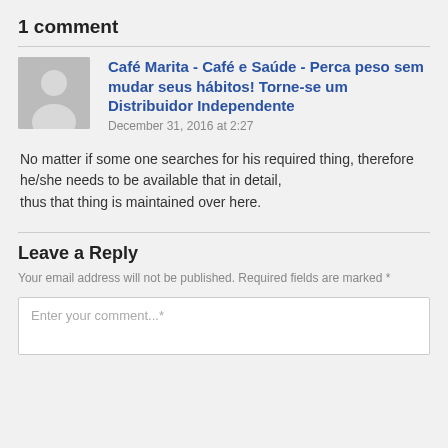1 comment
Café Marita - Café e Saúde - Perca peso sem mudar seus hábitos! Torne-se um Distribuidor Independente
December 31, 2016 at 2:27
No matter if some one searches for his required thing, therefore he/she needs to be available that in detail, thus that thing is maintained over here.
Leave a Reply
Your email address will not be published. Required fields are marked *
Enter your comment...*